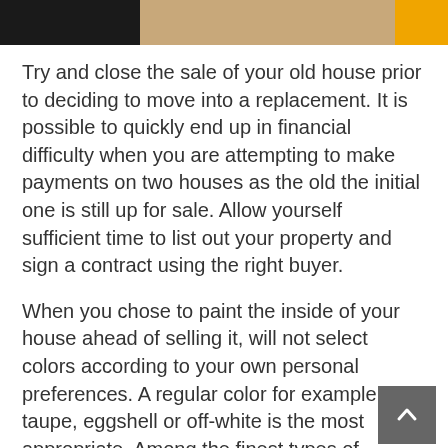[Figure (photo): A partial banner image at the top showing a dark left section, a wooden/hardware center section, and an orange right section.]
Try and close the sale of your old house prior to deciding to move into a replacement. It is possible to quickly end up in financial difficulty when you are attempting to make payments on two houses as the old the initial one is still up for sale. Allow yourself sufficient time to list out your property and sign a contract using the right buyer.
When you chose to paint the inside of your house ahead of selling it, will not select colors according to your own personal preferences. A regular color for example taupe, eggshell or off-white is the most appropriate. Among the finest types of communicating a fresh home's attract prospective buyers is to use a brand new coat of paint.
If prospective buyers will viewing your property, you